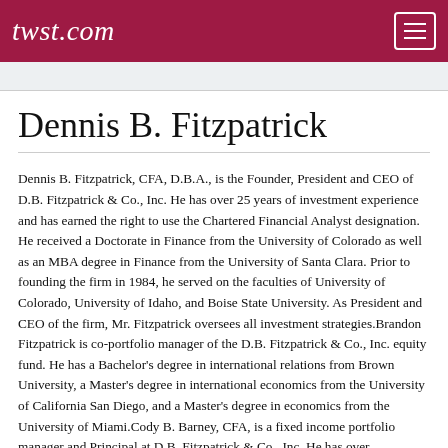twst.com
Dennis B. Fitzpatrick
Dennis B. Fitzpatrick, CFA, D.B.A., is the Founder, President and CEO of D.B. Fitzpatrick & Co., Inc. He has over 25 years of investment experience and has earned the right to use the Chartered Financial Analyst designation. He received a Doctorate in Finance from the University of Colorado as well as an MBA degree in Finance from the University of Santa Clara. Prior to founding the firm in 1984, he served on the faculties of University of Colorado, University of Idaho, and Boise State University. As President and CEO of the firm, Mr. Fitzpatrick oversees all investment strategies.Brandon Fitzpatrick is co-portfolio manager of the D.B. Fitzpatrick & Co., Inc. equity fund. He has a Bachelor's degree in international relations from Brown University, a Master's degree in international economics from the University of California San Diego, and a Master's degree in economics from the University of Miami.Cody B. Barney, CFA, is a fixed income portfolio manager and Principal at D.B. Fitzpatrick & Co., Inc. He has over